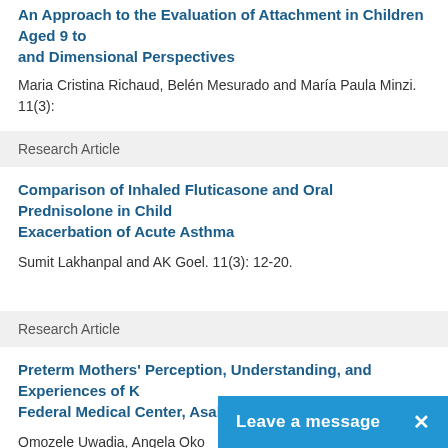An Approach to the Evaluation of Attachment in Children Aged 9 to... and Dimensional Perspectives
Maria Cristina Richaud, Belén Mesurado and María Paula Minzi. 11(3):
Research Article
Comparison of Inhaled Fluticasone and Oral Prednisolone in Child... Exacerbation of Acute Asthma
Sumit Lakhanpal and AK Goel. 11(3): 12-20.
Research Article
Preterm Mothers' Perception, Understanding, and Experiences of K... Federal Medical Center, Asaba. Nigeria
Omozele Uwadia, Angela Oko...